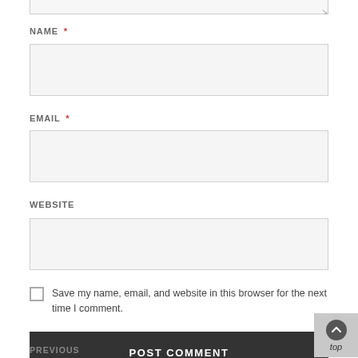NAME *
[Figure (other): Empty text input field for Name]
EMAIL *
[Figure (other): Empty text input field for Email]
WEBSITE
[Figure (other): Empty text input field for Website]
Save my name, email, and website in this browser for the next time I comment.
POST COMMENT
PREVIOUS